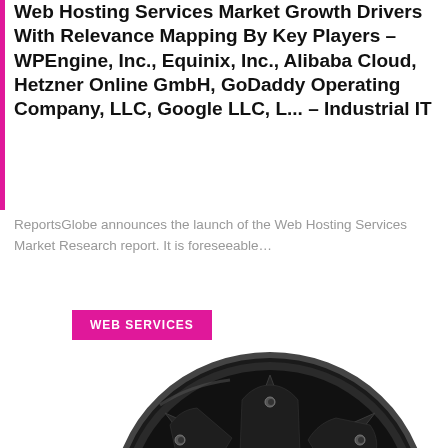Web Hosting Services Market Growth Drivers With Relevance Mapping By Key Players – WPEngine, Inc., Equinix, Inc., Alibaba Cloud, Hetzner Online GmbH, GoDaddy Operating Company, LLC, Google LLC, L... – Industrial IT
ReportsGlobe announces the launch of the Web Hosting Services Market Research report. It is foreseeable...
WEB SERVICES
[Figure (photo): A black alloy wheel/rim with spoke design and a center cap bearing an 'R' logo, photographed against a white background at a slight angle.]